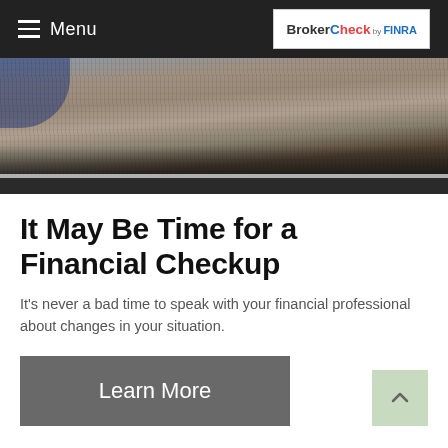Menu | BrokerCheck by FINRA
[Figure (photo): Close-up photo of a gravelly or sandy surface, possibly a road or construction material, with a person partially visible at the top left.]
It May Be Time for a Financial Checkup
It's never a bad time to speak with your financial professional about changes in your situation.
Learn More